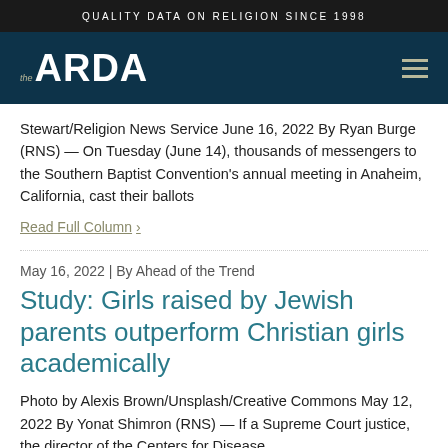QUALITY DATA ON RELIGION SINCE 1998
[Figure (logo): The ARDA logo on dark navy background with hamburger menu icon]
Stewart/Religion News Service June 16, 2022 By Ryan Burge (RNS) — On Tuesday (June 14), thousands of messengers to the Southern Baptist Convention's annual meeting in Anaheim, California, cast their ballots
Read Full Column >
May 16, 2022 | By Ahead of the Trend
Study: Girls raised by Jewish parents outperform Christian girls academically
Photo by Alexis Brown/Unsplash/Creative Commons May 12, 2022 By Yonat Shimron (RNS) — If a Supreme Court justice, the director of the Centers for Disease